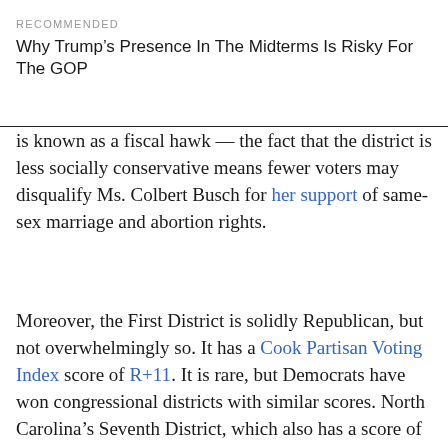RECOMMENDED
Why Trump’s Presence In The Midterms Is Risky For The GOP
is known as a fiscal hawk — the fact that the district is less socially conservative means fewer voters may disqualify Ms. Colbert Busch for her support of same-sex marriage and abortion rights.
Moreover, the First District is solidly Republican, but not overwhelmingly so. It has a Cook Partisan Voting Index score of R+11. It is rare, but Democrats have won congressional districts with similar scores. North Carolina’s Seventh District, which also has a score of R+11, is home to Representative Mike McIntyre, a Democrat. The Fourth Congressional District in Utah has a score of R+14 and is also represented by a Democrat, Jim Matheson.